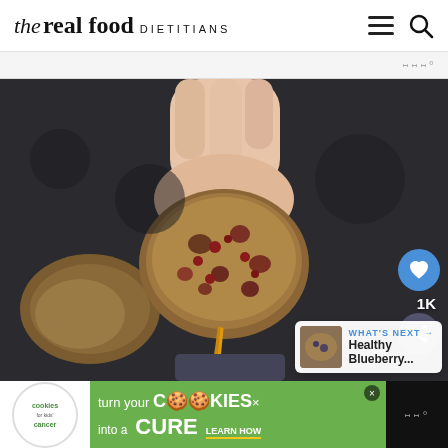the real food DIETITIANS
[Figure (photo): A hand holding a cranberry oat cookie/snack dripping with honey or syrup, with dark background and another cookie visible below]
WHAT'S NEXT → Healthy Blueberry...
[Figure (infographic): Advertisement banner: cookies for kids cancer - turn your COOKIES into a CURE LEARN HOW]